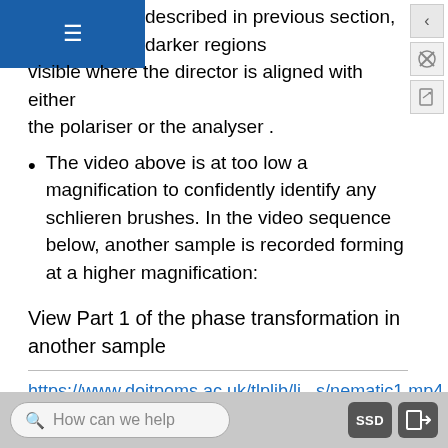described in previous section, darker regions visible where the director is aligned with either the polariser or the analyser .
The video above is at too low a magnification to confidently identify any schlieren brushes. In the video sequence below, another sample is recorded forming at a higher magnification:
View Part 1 of the phase transformation in another sample
https://www.doitpoms.ac.uk/tlplib/li...s/nematic1.mp4
Video of part 1 of the phase transformation in another sample